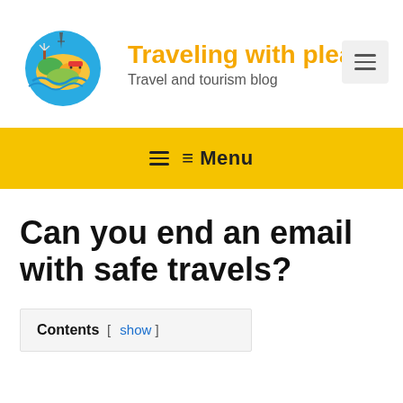[Figure (logo): Colorful globe with landmarks (Eiffel Tower, windmill, etc.) forming a travel-themed logo]
Traveling with pleasu
Travel and tourism blog
≡ Menu
Can you end an email with safe travels?
Contents [ show ]